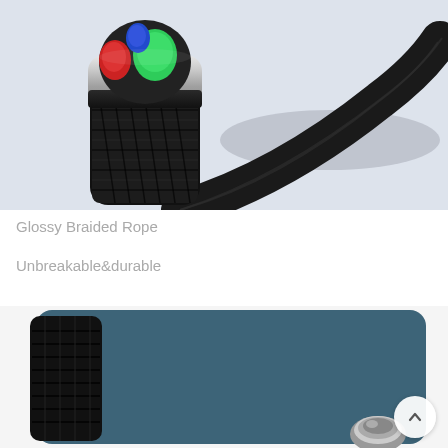[Figure (photo): Close-up product photo of a black braided cable connector with a silver metallic ring at the top and colorful (blue, red, green) internal wires visible inside, set against a light blue-gray background.]
Glossy Braided Rope
Unbreakable&durable
[Figure (photo): Partial product photo showing the end of a black braided cable against a dark teal/blue card background, with a silver magnetic connector tip visible at the bottom right.]